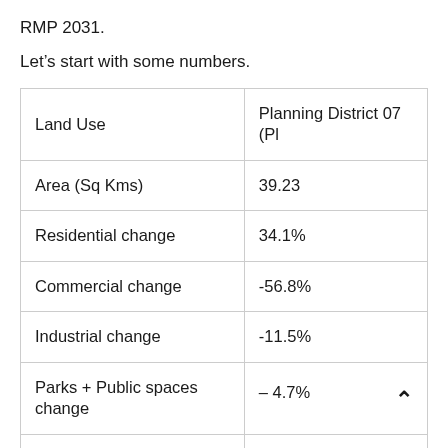RMP 2031.
Let’s start with some numbers.
| Land Use | Planning District 07 (Pl |
| --- | --- |
| Area (Sq Kms) | 39.23 |
| Residential change | 34.1% |
| Commercial change | -56.8% |
| Industrial change | -11.5% |
| Parks + Public spaces change | – 4.7% |
| Work... | 7, 8, 9, 10, 18, 18, 20... |